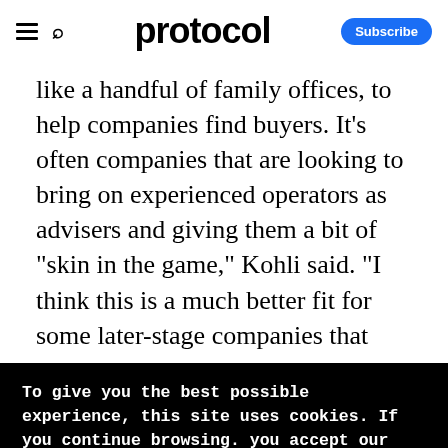protocol | Subscribe
like a handful of family offices, to help companies find buyers. It's often companies that are looking to bring on experienced operators as advisers and giving them a bit of "skin in the game," Kohli said. "I think this is a much better fit for some later-stage companies that
To give you the best possible experience, this site uses cookies. If you continue browsing. you accept our use of cookies. You can review our privacy policy to find out more about the cookies we use.
Accept